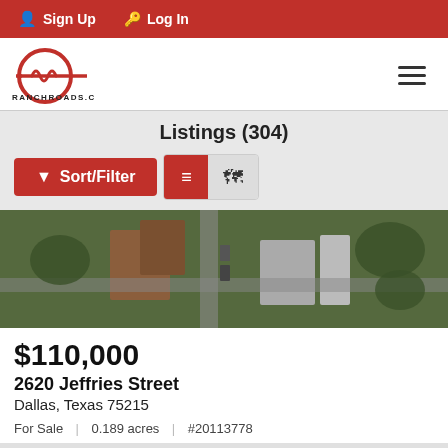Sign Up  Log In
[Figure (logo): RanchRoads.com circular logo with antenna/radio wave symbol and text RANCHROADS.COM below]
Listings (304)
[Figure (screenshot): Aerial satellite view of 2620 Jeffries Street property, Dallas Texas, showing buildings and trees from above]
$110,000
2620 Jeffries Street
Dallas, Texas 75215
For Sale  |  0.189 acres  |  #20113778
Price Reduced by 8.33%